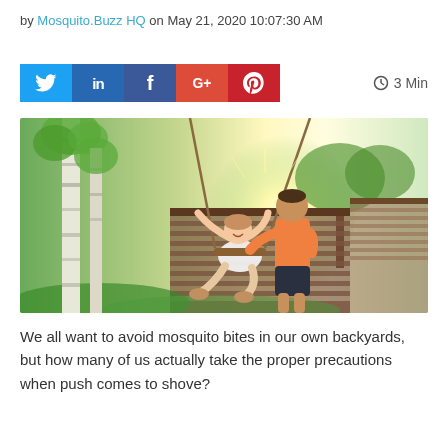by Mosquito.Buzz HQ on May 21, 2020 10:07:30 AM
[Figure (other): Social sharing buttons row: Twitter (blue), LinkedIn (dark blue), Facebook (dark blue), Google+ (red-orange), Pinterest (dark red), and a reading time indicator showing a clock icon and '3 Min' text]
[Figure (photo): Outdoor backyard scene with a man in an orange shirt pushing a smiling girl on a rope swing. Birch trees and a wooden cabin/shed visible in the background with bright sunlight.]
We all want to avoid mosquito bites in our own backyards, but how many of us actually take the proper precautions when push comes to shove?